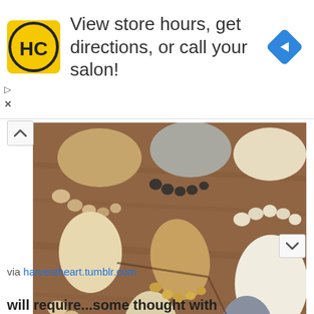[Figure (infographic): Advertisement banner: HC logo (black circle with HC letters on yellow background), text 'View store hours, get directions, or call your salon!', and a blue diamond navigation arrow icon on the right.]
[Figure (photo): Photograph of multiple stone/pebble arrangements on a wooden surface that form the shapes of footprints of different sizes, using various sizes, colors (white, beige, tan, gray, dark) and shapes of stones to represent the heel, arch, and toes of feet.]
via harvestheart.tumblr.com
will require...some thought with